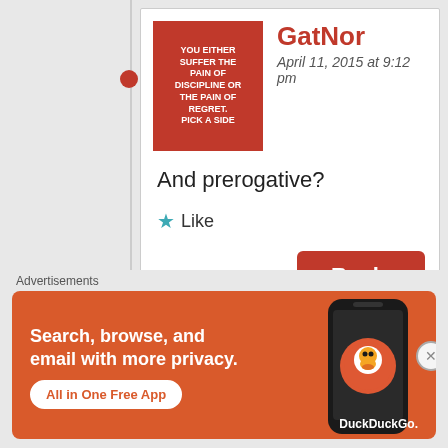GatNor
April 11, 2015 at 9:12 pm
And prerogative?
Like
Reply
GatNor
April 11, 2015 at 9:16 pm
And your prerogative is?
Advertisements
[Figure (screenshot): DuckDuckGo advertisement banner with orange background showing 'Search, browse, and email with more privacy. All in One Free App' with a phone image and DuckDuckGo logo]